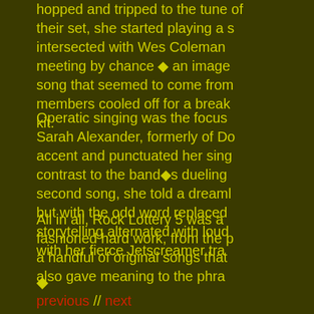hopped and tripped to the tune of their set, she started playing a s intersected with Wes Coleman meeting by chance ◆ an image song that seemed to come from members cooled off for a break kit.
Operatic singing was the focus Sarah Alexander, formerly of Do accent and punctuated her sing contrast to the band◆s dueling second song, she told a dreaml but with the odd word replaced storytelling alternated with loud with her fierce Jetscreamer tra
All in all, Rock Lottery 5 was a fashioned hard work, from the p a handful of original songs that also gave meaning to the phra
◆
previous // next